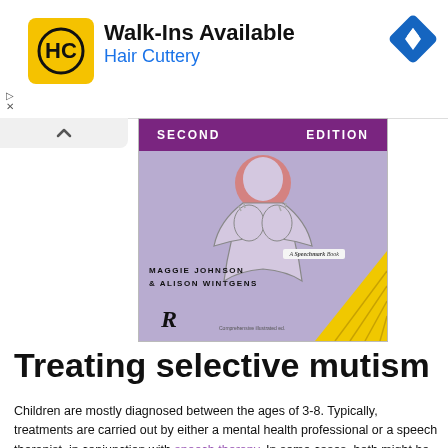[Figure (screenshot): Hair Cuttery advertisement banner with logo, 'Walk-Ins Available' text, and navigation icon]
[Figure (photo): Book cover: 'Second Edition' — Treating Selective Mutism by Maggie Johnson & Alison Wintgens, Speechmark/Routledge publication. Purple/lavender background with illustration of figure with hands covering face.]
Treating selective mutism
Children are mostly diagnosed between the ages of 3-8. Typically, treatments are carried out by either a mental health professional or a speech therapist, in conjunction with speech therapy. In some cases, both might be used simultaneously to tackle both things. The